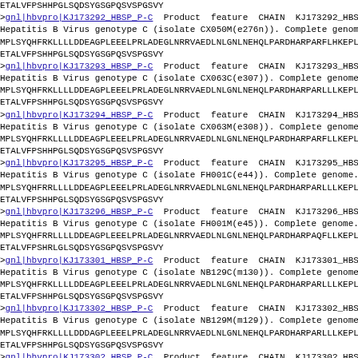ETALVFPSHHPGLSQDSYGSGPQSVSPGSVY
>gnl|hbvpro|KJ173292_HBSP_P-C  Product  feature  CHAIN  KJ173292_HBSP_P
Hepatitis B Virus genotype C (isolate CX050M(e276n)). Complete genome.
MPLSYQHFRKLLLLDDEAGPLEEELPRLADEGLNRRVAEDLNLGNLNEHQLPARDHARPARFLHKEPLCF
ETALVFPSHHPGLSQDSYGSGPQSVSPGSVY
>gnl|hbvpro|KJ173293_HBSP_P-C  Product  feature  CHAIN  KJ173293_HBSP_P
Hepatitis B Virus genotype C (isolate CX063C(e307)). Complete genome.
MPLSYQHFRKLLLLDDEAGPLEEELPRLADEGLNRRVAEDLNLGNLNEHQLPARDHARPARLLLKEPLCF
ETALVFPSHHPGLSQDSYGSGPQSVSPGSVY
>gnl|hbvpro|KJ173294_HBSP_P-C  Product  feature  CHAIN  KJ173294_HBSP_P
Hepatitis B Virus genotype C (isolate CX063M(e308)). Complete genome.
MPLSYQHFRKLLLLDDEAGPLEEELPRLADEGLNRRVAEDLNLGNLNEHQLPARDHARPARFLLKEPLCF
ETALVFPSHHPGLSQDSYGSGPQSVSPGSVY
>gnl|hbvpro|KJ173295_HBSP_P-C  Product  feature  CHAIN  KJ173295_HBSP_P
Hepatitis B Virus genotype C (isolate FH001C(e44)). Complete genome. [
MPLSYQHFRRLLLLDDEAGPLEEELPRLADEGLNRRVAEDLNLGNLNEHQLPARDHARPARLLLKEPLCF
ETALVFPSHHPGLSQDSYGSGPQSVSPGSVY
>gnl|hbvpro|KJ173296_HBSP_P-C  Product  feature  CHAIN  KJ173296_HBSP_P
Hepatitis B Virus genotype C (isolate FH001M(e45)). Complete genome. [
MPLSYQHFRRLLLLDDEAGPLEEELPRLADEGLNRRVAEDLNLGNLNEHQLPARDHARPAQFLLKEPLCF
ETALVFPSHHRLGLSQDSYGSGPQSVSPGSVY
>gnl|hbvpro|KJ173301_HBSP_P-C  Product  feature  CHAIN  KJ173301_HBSP_P
Hepatitis B Virus genotype C (isolate NB129C(m130)). Complete genome.
MPLSYQHFRKLLLLDDEAGPLEEELPRLADEGLNRRVAEDLNLGNLNEHQLPARDHARPARLLLKEPLCF
ETALVFPSHHPGLSQDSYGSGPQSVSPGSVY
>gnl|hbvpro|KJ173302_HBSP_P-C  Product  feature  CHAIN  KJ173302_HBSP_P
Hepatitis B Virus genotype C (isolate NB129M(m129)). Complete genome.
MPLSYQHFRKLLLLDDDAGPLEEELPRLADEGLNRRVAEDLNLGNLNEHQLPARDHARPARLLLKEPLCF
ETALVFPSHHPGLSQDSYGSGPQSVSPGSVY
>gnl|hbvpro|KJ173302_HBSP_P-C  Product  feature  CHAIN  KJ173302_HBSP